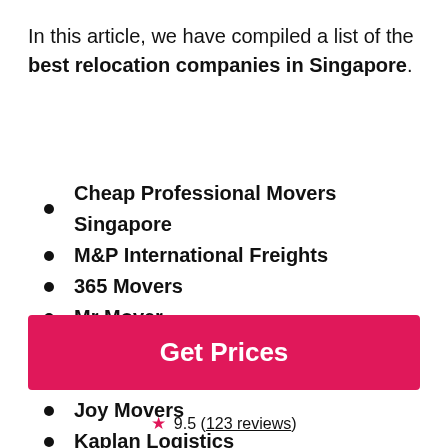In this article, we have compiled a list of the best relocation companies in Singapore.
Cheap Professional Movers Singapore
M&P International Freights
365 Movers
Mr Mover
Weload
Sing Hwa Mover
Joy Movers
Kaplan Logistics
Vin... Mo...
Get Prices
★ 9.5 (123 reviews)